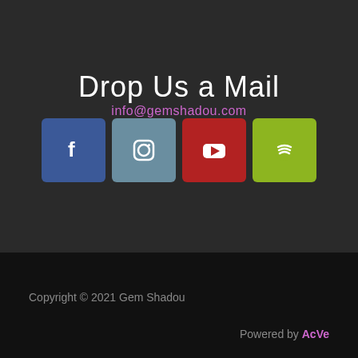Drop Us a Mail
info@gemshadou.com
[Figure (infographic): Four social media icon buttons: Facebook (blue), Instagram (steel blue), YouTube (red), Spotify (yellow-green)]
Copyright © 2021 Gem Shadou
Powered by AcVe